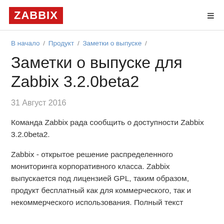ZABBIX
В начало / Продукт / Заметки о выпуске /
Заметки о выпуске для Zabbix 3.2.0beta2
31 Август 2016
Команда Zabbix рада сообщить о доступности Zabbix 3.2.0beta2.
Zabbix - открытое решение распределенного мониторинга корпоративного класса. Zabbix выпускается под лицензией GPL, таким образом, продукт бесплатный как для коммерческого, так и некоммерческого использования. Полный текст